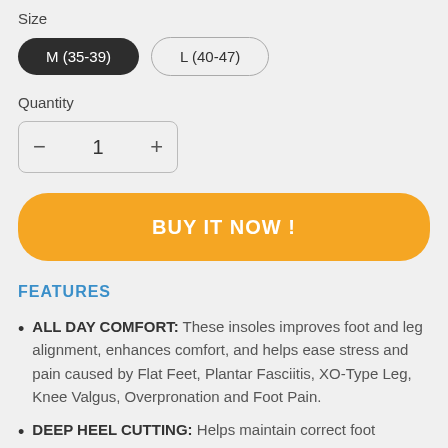Size
M (35-39)   L (40-47)
Quantity
− 1 +
BUY IT NOW !
FEATURES
ALL DAY COMFORT: These insoles improves foot and leg alignment, enhances comfort, and helps ease stress and pain caused by Flat Feet, Plantar Fasciitis, XO-Type Leg, Knee Valgus, Overpronation and Foot Pain.
DEEP HEEL CUTTING: Helps maintain correct foot